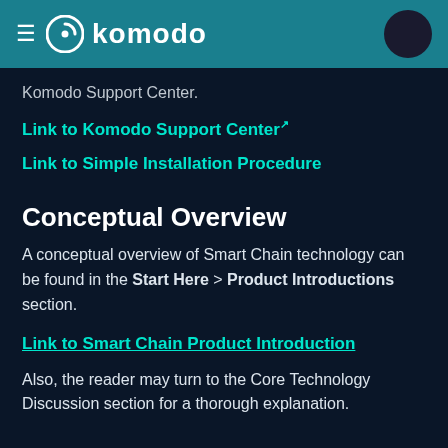≡ komodo
Komodo Support Center.
Link to Komodo Support Center ↗
Link to Simple Installation Procedure
Conceptual Overview
A conceptual overview of Smart Chain technology can be found in the Start Here > Product Introductions section.
Link to Smart Chain Product Introduction
Also, the reader may turn to the Core Technology Discussion section for a thorough explanation.